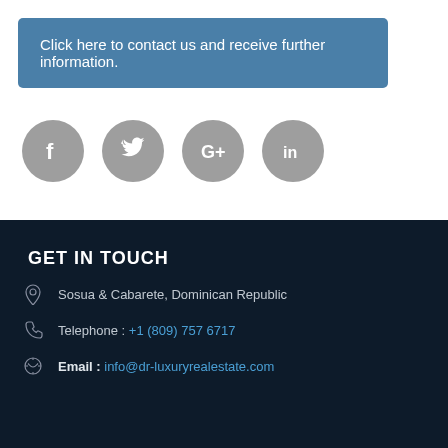Click here to contact us and receive further information.
[Figure (illustration): Four social media icons in gray circles: Facebook, Twitter, Google+, LinkedIn]
GET IN TOUCH
Sosua & Cabarete, Dominican Republic
Telephone : +1 (809) 757 6717
Email : info@dr-luxuryrealestate.com